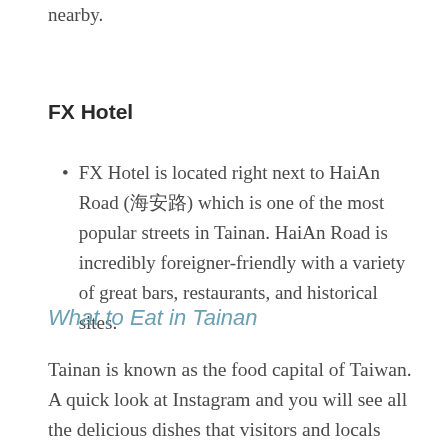nearby.
FX Hotel
FX Hotel is located right next to HaiAn Road (海安路) which is one of the most popular streets in Tainan. HaiAn Road is incredibly foreigner-friendly with a variety of great bars, restaurants, and historical sites.
What to Eat in Tainan
Tainan is known as the food capital of Taiwan. A quick look at Instagram and you will see all the delicious dishes that visitors and locals enjoy. If you are looking to try some local